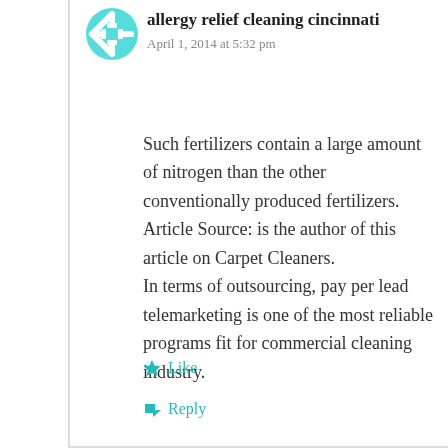allergy relief cleaning cincinnati
April 1, 2014 at 5:32 pm
Such fertilizers contain a large amount of nitrogen than the other conventionally produced fertilizers. Article Source: is the author of this article on Carpet Cleaners.
In terms of outsourcing, pay per lead telemarketing is one of the most reliable programs fit for commercial cleaning industry.
Like
Reply